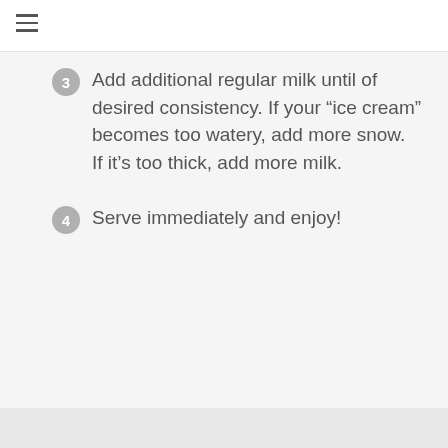3 Add additional regular milk until of desired consistency. If your “ice cream” becomes too watery, add more snow. If it’s too thick, add more milk.
4 Serve immediately and enjoy!